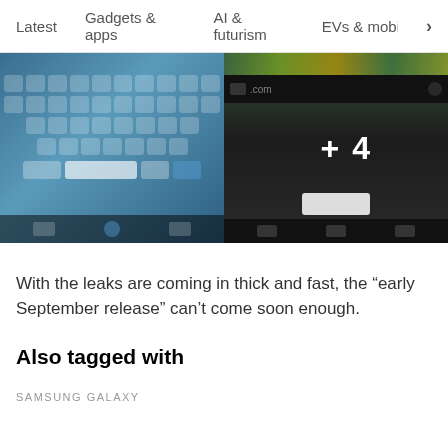Latest  Gadgets & apps  AI & futurism  EVs & mobil  >
[Figure (photo): Two side-by-side photos: left shows a blurry close-up of a smartphone keyboard/touchscreen, right shows a dark device screen with URL bar showing '.com' and a white connector. Overlay text '+ 4' on the right image.]
With the leaks are coming in thick and fast, the “early September release” can’t come soon enough.
Also tagged with
SAMSUNG GALAXY